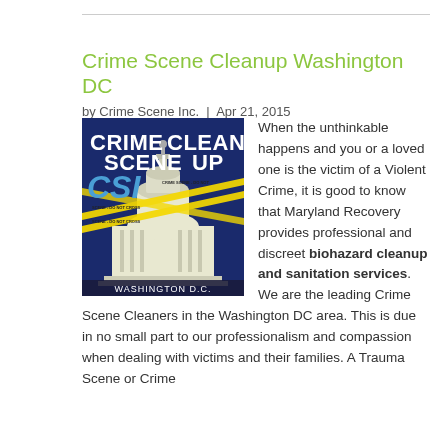Crime Scene Cleanup Washington DC
by Crime Scene Inc.  |  Apr 21, 2015
[Figure (illustration): Crime Scene Cleanup logo showing US Capitol building with crime scene tape and text 'CRIME SCENE CLEAN UP CSI WASHINGTON D.C.' on dark blue background]
When the unthinkable happens and you or a loved one is the victim of a Violent Crime, it is good to know that Maryland Recovery provides professional and discreet biohazard cleanup and sanitation services. We are the leading Crime Scene Cleaners in the Washington DC area. This is due in no small part to our professionalism and compassion when dealing with victims and their families. A Trauma Scene or Crime